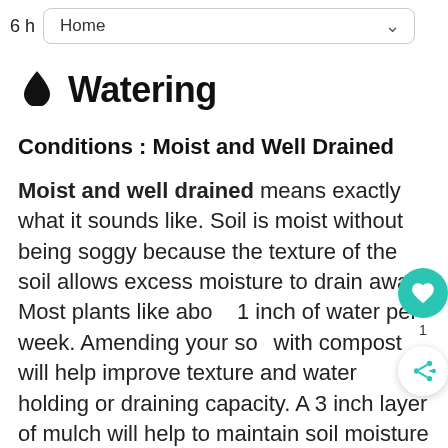6 h   Home
💧 Watering
Conditions : Moist and Well Drained
Moist and well drained means exactly what it sounds like. Soil is moist without being soggy because the texture of the soil allows excess moisture to drain away. Most plants like about 1 inch of water per week. Amending your soil with compost will help improve texture and water holding or draining capacity. A 3 inch layer of mulch will help to maintain soil moisture and studies have shown that mulched plants grow faster than non-mulched plants.